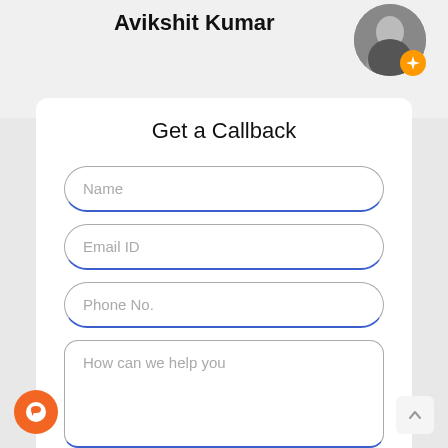Avikshit Kumar
[Figure (photo): Profile photo of Avikshit Kumar with orange badge icon]
Get a Callback
Name
Email ID
Phone No.
How can we help you
Enquire Now >